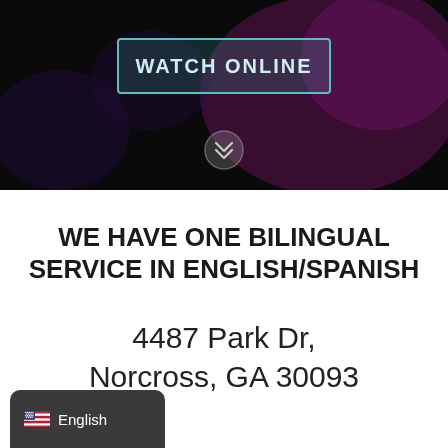[Figure (screenshot): Dark hero background with a 'WATCH ONLINE' button (teal border, semi-transparent) and a circular chevron/scroll-down icon below it]
WE HAVE ONE BILINGUAL SERVICE IN ENGLISH/SPANISH
4487 Park Dr, Norcross, GA 30093
🇺🇸 English